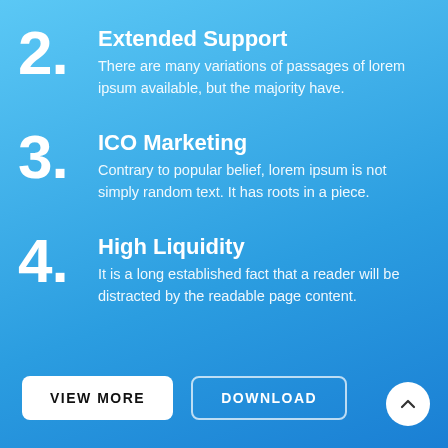2. Extended Support — There are many variations of passages of lorem ipsum available, but the majority have.
3. ICO Marketing — Contrary to popular belief, lorem ipsum is not simply random text. It has roots in a piece.
4. High Liquidity — It is a long established fact that a reader will be distracted by the readable page content.
VIEW MORE
DOWNLOAD